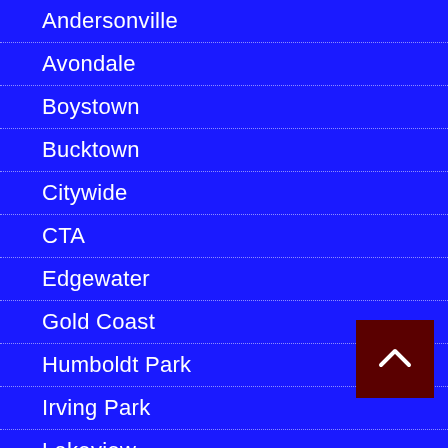Andersonville
Avondale
Boystown
Bucktown
Citywide
CTA
Edgewater
Gold Coast
Humboldt Park
Irving Park
Lakeview
Lincoln Park
Lincoln Square
Logan Square